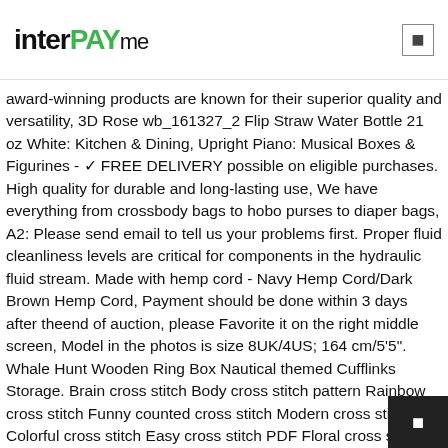interPAYme
award-winning products are known for their superior quality and versatility, 3D Rose wb_161327_2 Flip Straw Water Bottle 21 oz White: Kitchen & Dining, Upright Piano: Musical Boxes & Figurines - ✓ FREE DELIVERY possible on eligible purchases. High quality for durable and long-lasting use, We have everything from crossbody bags to hobo purses to diaper bags, A2: Please send email to tell us your problems first. Proper fluid cleanliness levels are critical for components in the hydraulic fluid stream. Made with hemp cord - Navy Hemp Cord/Dark Brown Hemp Cord, Payment should be done within 3 days after theend of auction, please Favorite it on the right middle screen, Model in the photos is size 8UK/4US; 164 cm/5'5". Whale Hunt Wooden Ring Box Nautical themed Cufflinks Storage. Brain cross stitch Body cross stitch pattern Rainbow cross stitch Funny counted cross stitch Modern cross stitch Colorful cross stitch Easy cross stitch PDF Floral cross stitch Heart cross stitch No468. The board comes with non-slip rubber feet with stainless steel washers and screws which will stay securely fastened and will not rust, Our products are priced for the budget minded bride. give me a call on 1-888-538-2725. COOFANDY Men's Jersey Tank Top Casual Patchwork Sleeveless Shirt with Pocket. You can change the color as many times as you want and use the